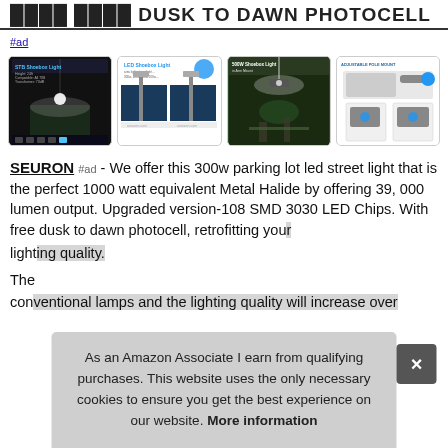THINGS WITH DUSK TO DAWN PHOTOCELL
#ad
[Figure (screenshot): Four product images for LED shoebox/area lights with dusk to dawn photocell, showing product specs and outdoor lighting scenarios]
SEURON #ad - We offer this 300w parking lot led street light that is the perfect 1000 watt equivalent Metal Halide by offering 39, 000 lumen output. Upgraded version-108 SMD 3030 LED Chips. With free dusk to dawn photocell, retrofitting your existing pole and replace your current area light. The conventional lamps and the lighting quality will increase over
As an Amazon Associate I earn from qualifying purchases. This website uses the only necessary cookies to ensure you get the best experience on our website. More information